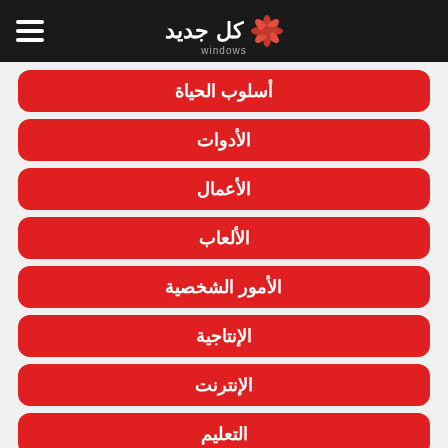كل جديد
أسلوب الحياة
الأدوات
الأعمال
الألعاب
الأمور الشخصية
الإنتاجية
الإنترنت
التعليم
التواصل